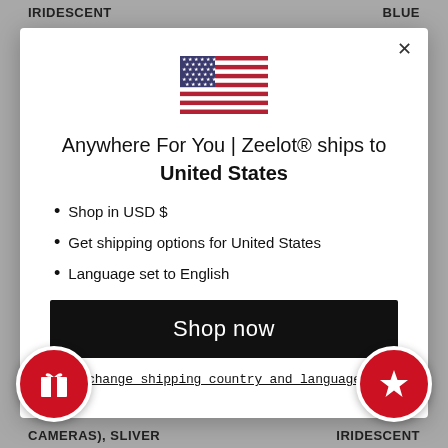IRIDESCENT    BLUE
[Figure (screenshot): Modal dialog overlay on a gray background showing a US flag, shipping destination info for Zeelot to United States, bullet points about USD shopping, shipping options and language, a Shop now button, and a change shipping country and language link. Two red circular icon buttons (gift and star) are visible at the bottom corners.]
Anywhere For You | Zeelot® ships to United States
Shop in USD $
Get shipping options for United States
Language set to English
Shop now
Change shipping country and language
CAMERAS), SLIVER    IRIDESCENT